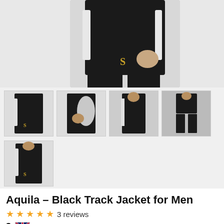[Figure (photo): Main product image: man wearing black track jacket and pants with white/silver stripe detail and gold SikSilk logo, cropped to torso]
[Figure (photo): Thumbnail 1: front view of black track jacket with white stripe]
[Figure (photo): Thumbnail 2: side/arm view showing silver stripe detailing]
[Figure (photo): Thumbnail 3: front facing model wearing black track top]
[Figure (photo): Thumbnail 4: full body shot showing black track jacket and pants]
[Figure (photo): Thumbnail 5: second row, front view of black tracksuit top]
Aquila – Black Track Jacket for Men
★★★★★ 3 reviews
EN > 79.99 CAD